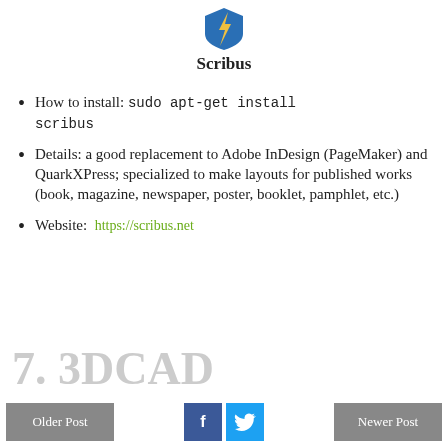[Figure (logo): Scribus application logo — blue shield with lightning bolt]
Scribus
How to install: sudo apt-get install scribus
Details: a good replacement to Adobe InDesign (PageMaker) and QuarkXPress; specialized to make layouts for published works (book, magazine, newspaper, poster, booklet, pamphlet, etc.)
Website: https://scribus.net
7. 3DCAD
Older Post | f | Twitter bird | Newer Post